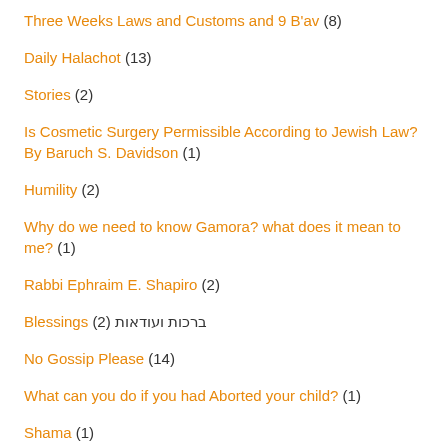Three Weeks Laws and Customs and 9 B'av (8)
Daily Halachot (13)
Stories (2)
Is Cosmetic Surgery Permissible According to Jewish Law? By Baruch S. Davidson (1)
Humility (2)
Why do we need to know Gamora? what does it mean to me? (1)
Rabbi Ephraim E. Shapiro (2)
Blessings (2) ברכות ועודאות
No Gossip Please (14)
What can you do if you had Aborted your child? (1)
Shama (1)
Fluffy (1)